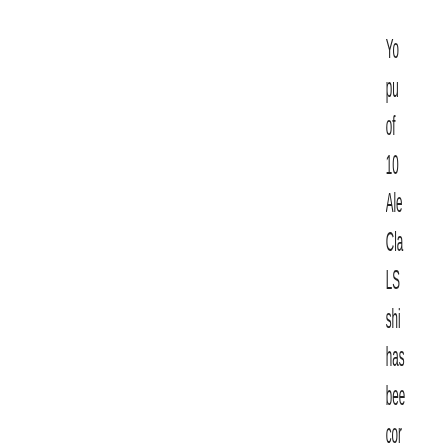You pur of 10 Ale Cla LS shi has bee cor An as suc the Ma Sh and Co Wo Un has acc the